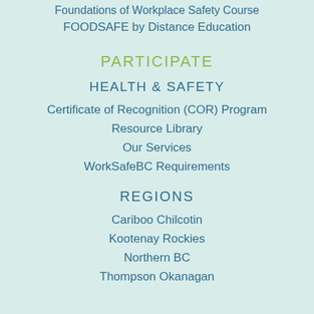Foundations of Workplace Safety Course
FOODSAFE by Distance Education
PARTICIPATE
HEALTH & SAFETY
Certificate of Recognition (COR) Program
Resource Library
Our Services
WorkSafeBC Requirements
REGIONS
Cariboo Chilcotin
Kootenay Rockies
Northern BC
Thompson Okanagan